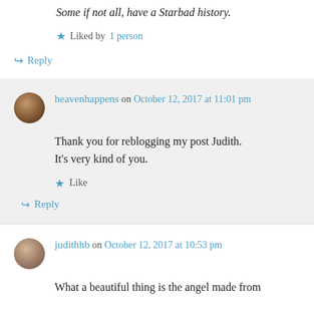Some if not all, have a Starbad history.
★ Liked by 1 person
↪ Reply
heavenhappens on October 12, 2017 at 11:01 pm
Thank you for reblogging my post Judith. It's very kind of you.
★ Like
↪ Reply
judithhb on October 12, 2017 at 10:53 pm
What a beautiful thing is the angel made from